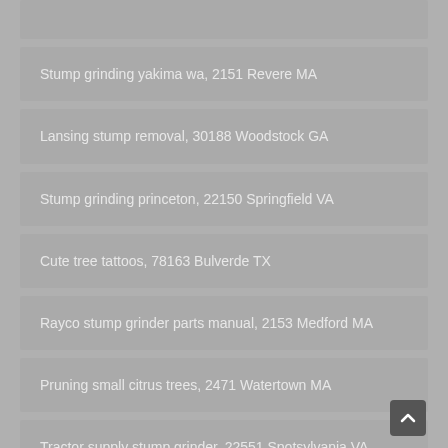Stump grinding yakima wa, 2151 Revere MA
Lansing stump removal, 30188 Woodstock GA
Stump grinding princeton, 22150 Springfield VA
Cute tree tattoos, 78163 Bulverde TX
Rayco stump grinder parts manual, 2153 Medford MA
Pruning small citrus trees, 2471 Watertown MA
Tractor supply stump grinder, 22551 Spotsylvania VA
Tree stump grinder palm coast, 2370 Rockland MA